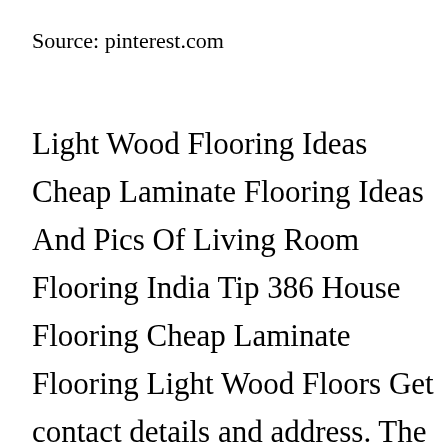Source: pinterest.com
Light Wood Flooring Ideas Cheap Laminate Flooring Ideas And Pics Of Living Room Flooring India Tip 386 House Flooring Cheap Laminate Flooring Light Wood Floors Get contact details and address. The solid wood flooring has a longer life expectancy offering a timeless and charismatic appeal. We are home to some of the worlds leading makers of fine wooden floors from Europe and Asia. The elegance and inimitable